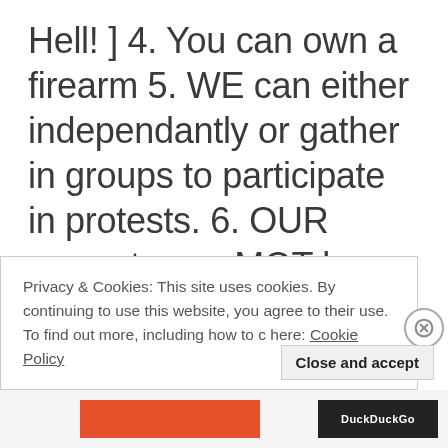Hell! ] 4. You can own a firearm 5. WE can either independantly or gather in groups to participate in protests. 6. OUR property can MOT be searched; without a warrant allowing proper official's to do so. 7. WE cannot be forced to testify against ourselves. 8. WE cannot be
Privacy & Cookies: This site uses cookies. By continuing to use this website, you agree to their use. To find out more, including how to c here: Cookie Policy
Close and accept